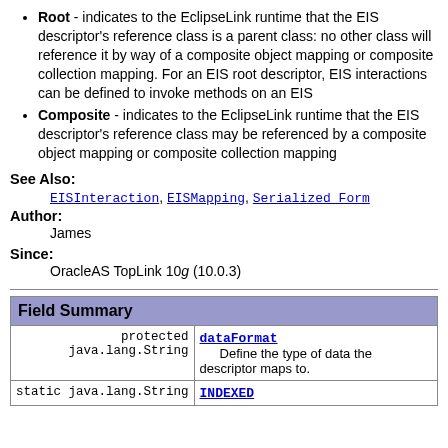Root - indicates to the EclipseLink runtime that the EIS descriptor's reference class is a parent class: no other class will reference it by way of a composite object mapping or composite collection mapping. For an EIS root descriptor, EIS interactions can be defined to invoke methods on an EIS
Composite - indicates to the EclipseLink runtime that the EIS descriptor's reference class may be referenced by a composite object mapping or composite collection mapping
See Also:
EISInteraction, EISMapping, Serialized Form
Author:
James
Since:
OracleAS TopLink 10g (10.0.3)
| Field Summary |
| --- |
| protected java.lang.String | dataFormat
          Define the type of data the descriptor maps to. |
| static java.lang.String | INDEXED |